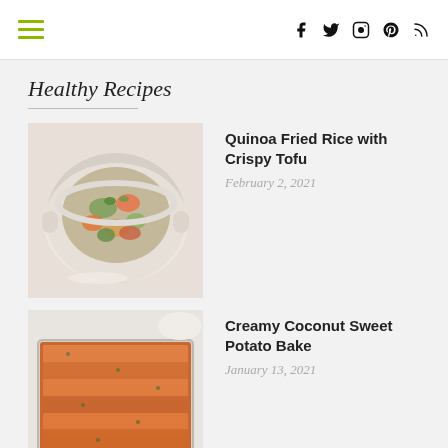Navigation menu and social icons (Facebook, Twitter, Instagram, Pinterest, RSS)
Healthy Recipes
[Figure (photo): Bowl of quinoa fried rice with vegetables and crispy tofu]
Quinoa Fried Rice with Crispy Tofu
February 2, 2021
[Figure (photo): Creamy coconut sweet potato bake in a rectangular baking dish]
Creamy Coconut Sweet Potato Bake
January 13, 2021
Fresh Restaurants